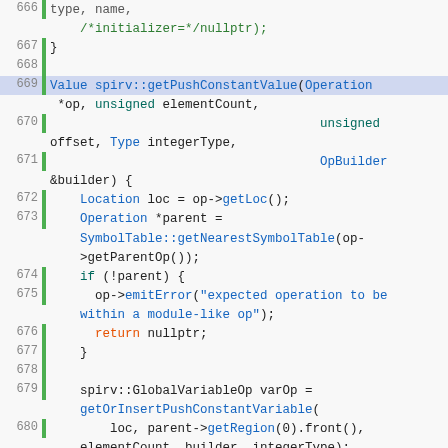[Figure (screenshot): Source code screenshot showing C++ code for spirv::getPushConstantValue function, lines 666-685, with syntax highlighting in a code editor.]